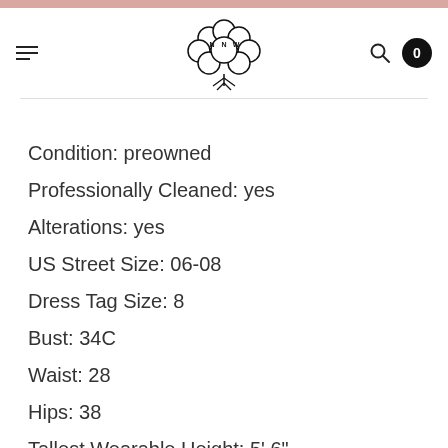NNW logo header with hamburger menu, search icon, and cart badge (0)
Condition: preowned
Professionally Cleaned: yes
Alterations: yes
US Street Size: 06-08
Dress Tag Size: 8
Bust: 34C
Waist: 28
Hips: 38
Tallest Wearable Height: 5' 6"
Fabrication